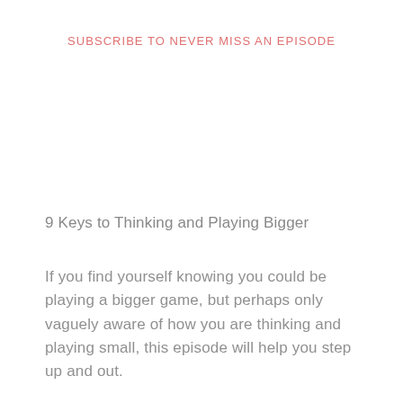SUBSCRIBE TO NEVER MISS AN EPISODE
9 Keys to Thinking and Playing Bigger
If you find yourself knowing you could be playing a bigger game, but perhaps only vaguely aware of how you are thinking and playing small, this episode will help you step up and out.